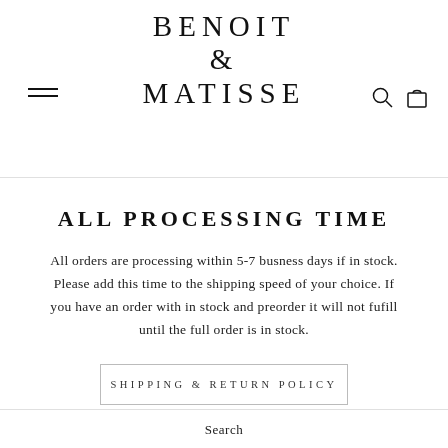BENOIT & MATISSE
ALL PROCESSING TIME
All orders are processing within 5-7 busness days if in stock. Please add this time to the shipping speed of your choice. If you have an order with in stock and preorder it will not fufill until the full order is in stock.
SHIPPING & RETURN POLICY
Search